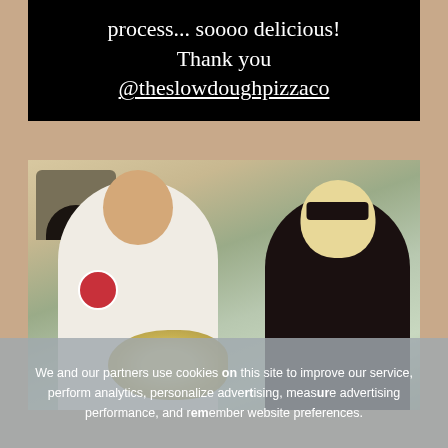process... soooo delicious! Thank you @theslowdoughpizzaco
[Figure (photo): Photo of two people smiling outdoors near a wood-fired pizza oven. On the left is a man in a white chef's coat with an emblem, and on the right is a blonde woman wearing black sunglasses and a black top. There are flowers/pizza dough visible in the foreground.]
We and our partners use cookies on this site to improve our service, perform analytics, personalize advertising, measure advertising performance, and remember website preferences.